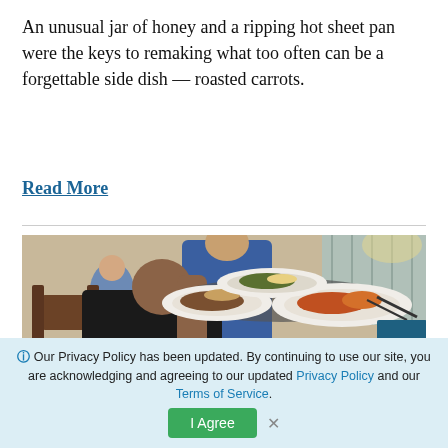An unusual jar of honey and a ripping hot sheet pan were the keys to remaking what too often can be a forgettable side dish — roasted carrots.
Read More
[Figure (photo): A server wearing a black shirt with 'ATHENA' text and a floral logo carries multiple plates of food in a casual restaurant setting with tile floors and other diners in the background.]
Our Privacy Policy has been updated. By continuing to use our site, you are acknowledging and agreeing to our updated Privacy Policy and our Terms of Service. | Agree